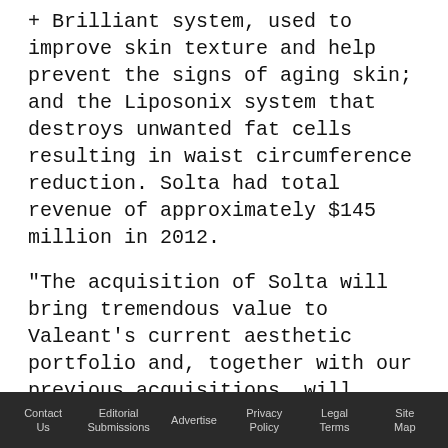+ Brilliant system, used to improve skin texture and help prevent the signs of aging skin; and the Liposonix system that destroys unwanted fat cells resulting in waist circumference reduction. Solta had total revenue of approximately $145 million in 2012.
"The acquisition of Solta will bring tremendous value to Valeant's current aesthetic portfolio and, together with our previous acquisitions, will create the broadest aesthetic portfolio in the industry," stated J. Michael Pearson, chairman and CEO of Valeant. "Solta's leading aesthetic devices are a natural fit with Valeant's facial injectables,
Contact Us | Editorial Submissions | Advertise | Privacy Policy | Legal Terms | Site Map